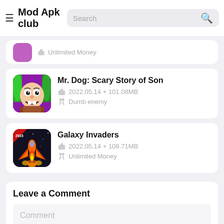Mod Apk club
Unlimited Money (partial card, cut off at top)
Mr. Dog: Scary Story of Son — 2022.05.14 + 101.08MB — Dumb enemy
Galaxy Invaders — 2022.05.14 + 109.71MB — Unlimited Money
Leave a Comment
Comment